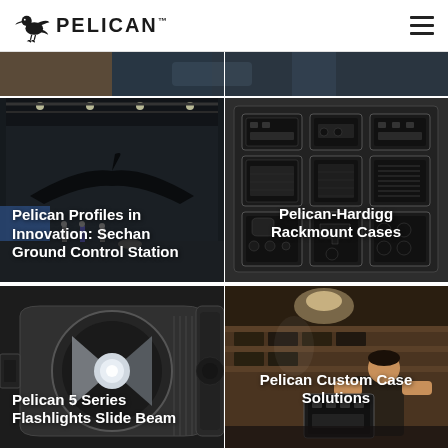PELICAN
[Figure (photo): Partial top strip showing two cropped photos: left appears to be a brown/warm-toned scene, right is a darker blue-grey scene]
[Figure (photo): Pelican Profiles in Innovation: Sechan Ground Control Station — photo of an aircraft hangar with a dark stealth aircraft and ground crew]
[Figure (photo): Pelican-Hardigg Rackmount Cases — image showing rackmount case foam/panel layout on dark background]
[Figure (photo): Pelican 5 Series Flashlights Slide Beam — close-up cross-section render of a flashlight beam mechanism in grey tones]
[Figure (photo): Pelican Custom Case Solutions — photo of a worker inspecting or assembling equipment in a manufacturing/warehouse setting]